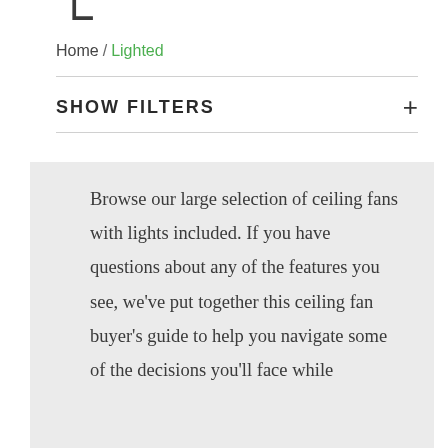[Figure (logo): Partial logo — large dark numeral or letter partially visible at top]
Home / Lighted
SHOW FILTERS +
Browse our large selection of ceiling fans with lights included. If you have questions about any of the features you see, we've put together this ceiling fan buyer's guide to help you navigate some of the decisions you'll face while